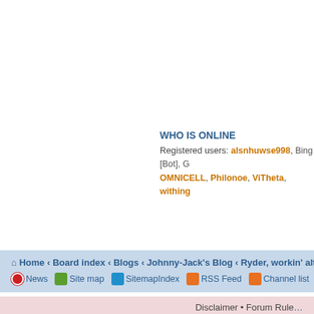WHO IS ONLINE
Registered users: alsnhuwse998, Bing [Bot], G OMNICELL, Philonoe, ViTheta, withing
Home › Board index › Blogs › Johnny-Jack's Blog › Ryder, workin' alter, hidden
News   Site map   SitemapIndex   RSS Feed   Channel list
Disclaimer • Forum Rule
Powered by phpBB   Time : 0.164